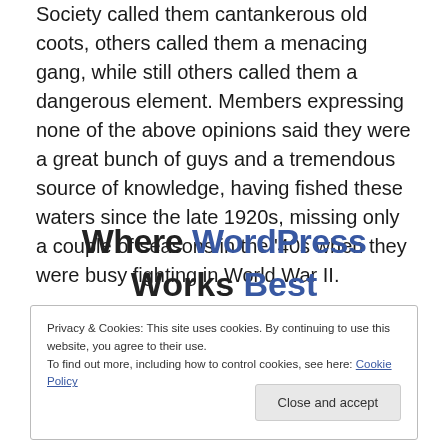Society called them cantankerous old coots, others called them a menacing gang, while still others called them a dangerous element. Members expressing none of the above opinions said they were a great bunch of guys and a tremendous source of knowledge, having fished these waters since the late 1920s, missing only a couple of seasons in the '40s when they were busy fighting in World War II.
Where WordPress Works Best
Privacy & Cookies: This site uses cookies. By continuing to use this website, you agree to their use. To find out more, including how to control cookies, see here: Cookie Policy
Close and accept